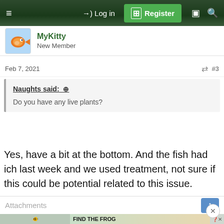≡  →) Log in  [+] Register  □  🔍
MyKitty
New Member
Feb 7, 2021  #3
Naughts said: ⊕

Do you have any live plants?
Yes, have a bit at the bottom. And the fish had ich last week and we used treatment, not sure if this could be potential related to this issue.
Attachments
[Figure (screenshot): Advertisement banner: FIND THE FROG with cartoon game scene]